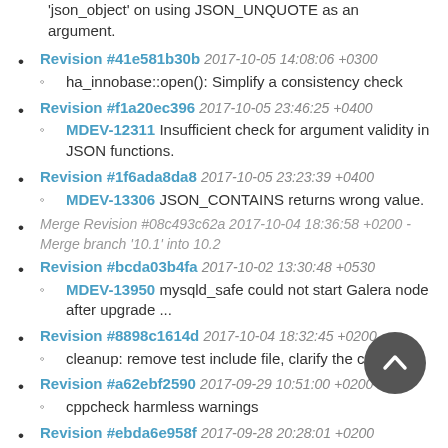'json_object' on using JSON_UNQUOTE as an argument.
Revision #41e581b30b 2017-10-05 14:08:06 +0300
ha_innobase::open(): Simplify a consistency check
Revision #f1a20ec396 2017-10-05 23:46:25 +0400
MDEV-12311 Insufficient check for argument validity in JSON functions.
Revision #1f6ada8da8 2017-10-05 23:23:39 +0400
MDEV-13306 JSON_CONTAINS returns wrong value.
Merge Revision #08c493c62a 2017-10-04 18:36:58 +0200 - Merge branch '10.1' into 10.2
Revision #bcda03b4fa 2017-10-02 13:30:48 +0530
MDEV-13950 mysqld_safe could not start Galera node after upgrade ...
Revision #8898c1614d 2017-10-04 18:32:45 +0200
cleanup: remove test include file, clarify the comment
Revision #a62ebf2590 2017-09-29 10:51:00 +0200
cppcheck harmless warnings
Revision #ebda6e958f 2017-09-28 20:28:01 +0200
enable MongoDB support in CONNECT
Revision #6ca35c1428 2017-10-04 08:07:41 +0300
Replace a non-ASCII character in a comment
Revision #8d413a38dc ...